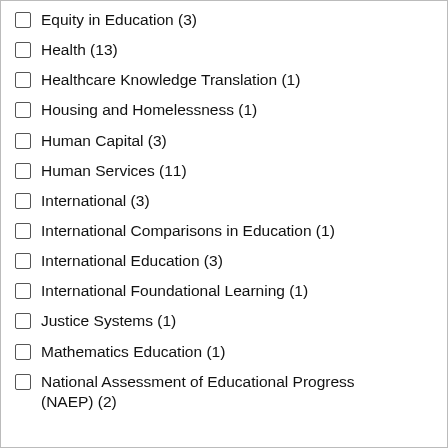Equity in Education (3)
Health (13)
Healthcare Knowledge Translation (1)
Housing and Homelessness (1)
Human Capital (3)
Human Services (11)
International (3)
International Comparisons in Education (1)
International Education (3)
International Foundational Learning (1)
Justice Systems (1)
Mathematics Education (1)
National Assessment of Educational Progress (NAEP) (2)